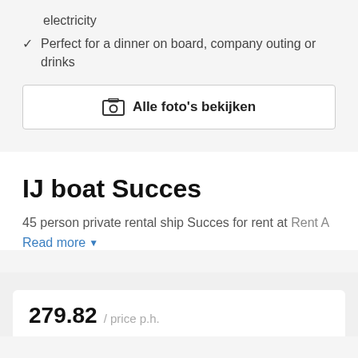electricity
Perfect for a dinner on board, company outing or drinks
[Figure (other): Button with image icon: Alle foto's bekijken]
IJ boat Succes
45 person private rental ship Succes for rent at Rent A
Read more ▾
279.82 / price p.h.